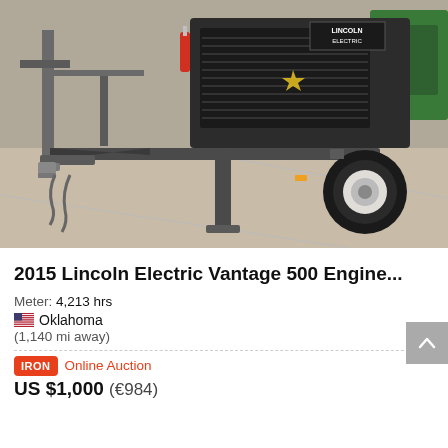[Figure (photo): Photo of a 2015 Lincoln Electric Vantage 500 engine-driven welder/generator on a trailer, parked on a concrete surface outdoors. The machine is dark green/black with Lincoln Electric branding visible on top. The trailer has a ball hitch with chains at the front, a stabilizer jack, and a single wheel/tire on the right. Other equipment is partially visible in the background.]
2015 Lincoln Electric Vantage 500 Engine...
Meter: 4,213 hrs
Oklahoma
(1,140 mi away)
Online Auction
US $1,000 (€984)